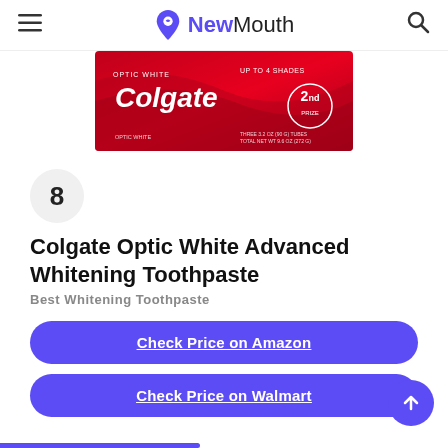NewMouth
[Figure (photo): Colgate Optic White Advanced Whitening Toothpaste product box on red background with text 'UP TO 4 SHADES' and a circular badge showing '2%']
8
Colgate Optic White Advanced Whitening Toothpaste
Best Whitening Toothpaste
Check Price on Amazon
Check Price on Walmart